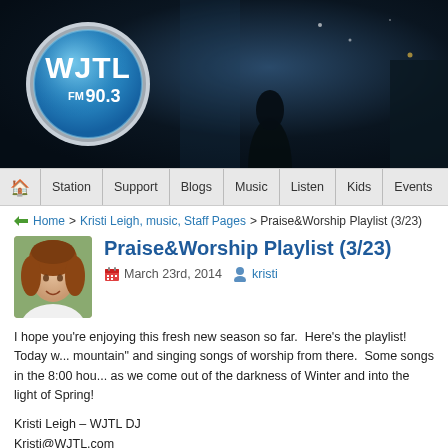[Figure (screenshot): WJTL FM 90.3 radio station website header banner with logo circle on dark blue background]
Station | Support | Blogs | Music | Listen | Kids | Events
Home > Kristi Leigh, music, Staff Pages > Praise&Worship Playlist (3/23)
Praise&Worship Playlist (3/23)
March 23rd, 2014   kristi
I hope you're enjoying this fresh new season so far.  Here's the playlist!  Today w... mountain" and singing songs of worship from there.  Some songs in the 8:00 hou... as we come out of the darkness of Winter and into the light of Spring!
Kristi Leigh – WJTL DJ
Kristi@WJTL.com
6AM